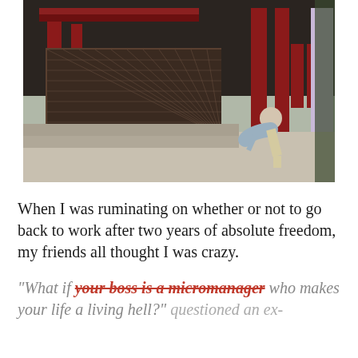[Figure (photo): A person bowing deeply in front of a Japanese shrine or temple with red wooden architecture, latticed windows, and stone steps in the foreground.]
When I was ruminating on whether or not to go back to work after two years of absolute freedom, my friends all thought I was crazy.
"What if your boss is a micromanager who makes your life a living hell?" questioned an ex-